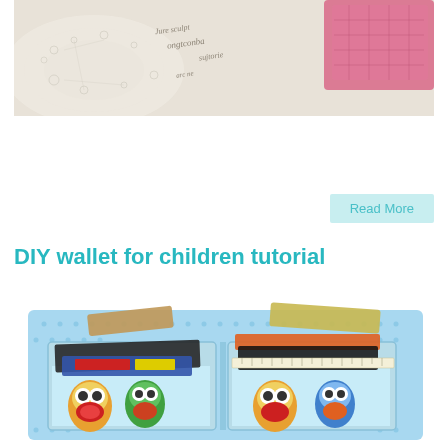[Figure (photo): Photo of a pink quilted pouch/bag on a surface with lace fabric and cursive handwritten text on paper underneath]
Read More
DIY wallet for children tutorial
[Figure (photo): Photo of an open DIY fabric wallet made with owl-printed fabric on blue polka-dot background, showing card slots with cards and money inside]